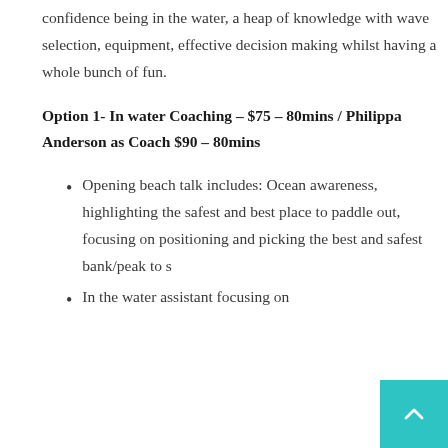confidence being in the water, a heap of knowledge with wave selection, equipment, effective decision making whilst having a whole bunch of fun.
Option 1- In water Coaching – $75 – 80mins / Philippa Anderson as Coach $90 – 80mins
Opening beach talk includes: Ocean awareness, highlighting the safest and best place to paddle out, focusing on positioning and picking the best and safest bank/peak to s…
In the water assistant focusing on